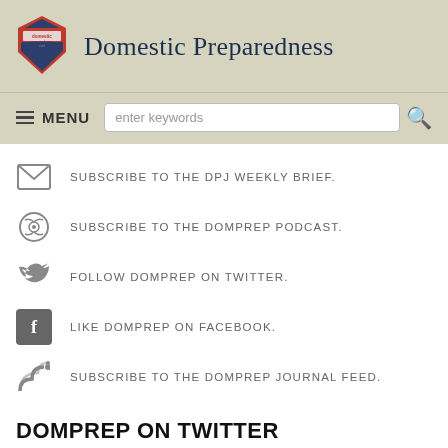Domestic Preparedness
SUBSCRIBE TO THE DPJ WEEKLY BRIEF.
SUBSCRIBE TO THE DOMPREP PODCAST.
FOLLOW DOMPREP ON TWITTER.
LIKE DOMPREP ON FACEBOOK.
SUBSCRIBE TO THE DOMPREP JOURNAL FEED.
DOMPREP ON TWITTER
WED, AUGUST 24, 2022
Traditional EOC or Virtual EOC? What do you think works best? Not sure? Read our latest article to learn some of t... https://t.co/...